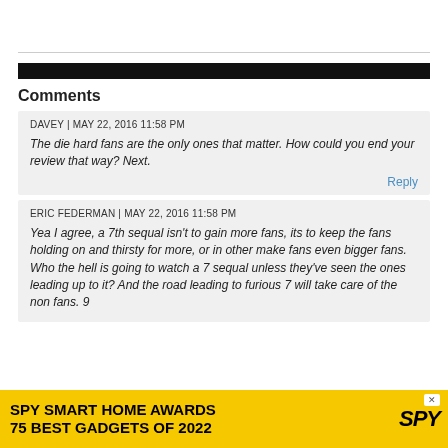Comments
DAVEY | MAY 22, 2016 11:58 PM
The die hard fans are the only ones that matter. How could you end your review that way? Next.
Reply
ERIC FEDERMAN | MAY 22, 2016 11:58 PM
Yea I agree, a 7th sequal isn't to gain more fans, its to keep the fans holding on and thirsty for more, or in other make fans even bigger fans. Who the hell is going to watch a 7 sequal unless they've seen the ones leading up to it? And the road leading to furious 7 will take care of the non fans. 9
[Figure (screenshot): Advertisement banner: SPY SMART HOME AWARDS 75 BEST GADGETS OF 2022 with SPY logo on yellow background]